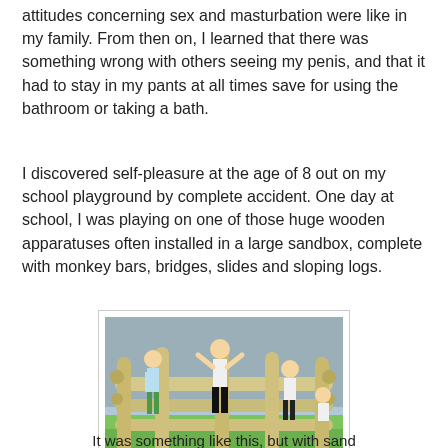attitudes concerning sex and masturbation were like in my family. From then on, I learned that there was something wrong with others seeing my penis, and that it had to stay in my pants at all times save for using the bathroom or taking a bath.
I discovered self-pleasure at the age of 8 out on my school playground by complete accident. One day at school, I was playing on one of those huge wooden apparatuses often installed in a large sandbox, complete with monkey bars, bridges, slides and sloping logs.
[Figure (photo): Children playing on a large wooden playground apparatus with horizontal logs/monkey bars, on green artificial grass, with a building in the background.]
It was something like this, but with sand